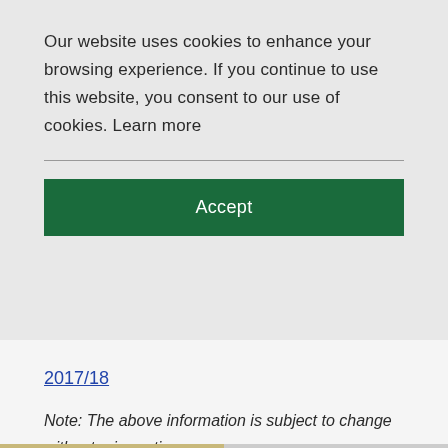Our website uses cookies to enhance your browsing experience. If you continue to use this website, you consent to our use of cookies. Learn more
Accept
2017/18
Note: The above information is subject to change without prior notice.